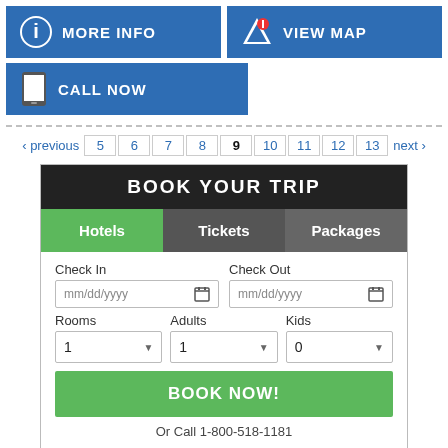[Figure (screenshot): Blue button with info icon and text MORE INFO]
[Figure (screenshot): Blue button with map icon and text VIEW MAP]
[Figure (screenshot): Blue button with phone icon and text CALL NOW]
‹ previous  5  6  7  8  9  10  11  12  13  next ›
[Figure (screenshot): Book Your Trip widget with Hotels/Tickets/Packages tabs, check-in/out date fields, rooms/adults/kids dropdowns, BOOK NOW button, and Or Call 1-800-518-1181]